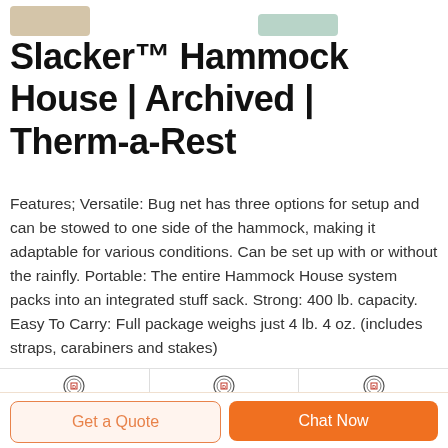[Figure (photo): Partial product images at top of page (cropped)]
Slacker™ Hammock House | Archived | Therm-a-Rest
Features; Versatile: Bug net has three options for setup and can be stowed to one side of the hammock, making it adaptable for various conditions. Can be set up with or without the rainfly. Portable: The entire Hammock House system packs into an integrated stuff sack. Strong: 400 lb. capacity. Easy To Carry: Full package weighs just 4 lb. 4 oz. (includes straps, carabiners and stakes)
[Figure (photo): Row of three product thumbnails with DEEKON logos — colorful straps/mat, olive sleeping bag/stuff sack, black padded seat]
Get a Quote
Chat Now